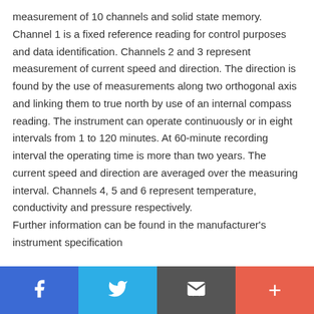measurement of 10 channels and solid state memory. Channel 1 is a fixed reference reading for control purposes and data identification. Channels 2 and 3 represent measurement of current speed and direction. The direction is found by the use of measurements along two orthogonal axis and linking them to true north by use of an internal compass reading. The instrument can operate continuously or in eight intervals from 1 to 120 minutes. At 60-minute recording interval the operating time is more than two years. The current speed and direction are averaged over the measuring interval. Channels 4, 5 and 6 represent temperature, conductivity and pressure respectively.

Further information can be found in the manufacturer's instrument specification
Social sharing toolbar with Facebook, Twitter, Email, and More buttons